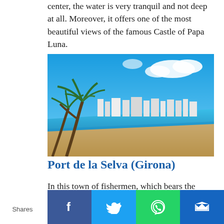center, the water is very tranquil and not deep at all. Moreover, it offers one of the most beautiful views of the famous Castle of Papa Luna.
[Figure (photo): Sunny beach with palm tree on the left, sandy shore, calm blue sea, and a city skyline visible in the background under a bright blue sky with clouds.]
Port de la Selva (Girona)
In this town of fishermen, which bears the same name, there is a beach that is part of the Cap de Creus Natural Park. The beach is spacious and the landscape is unbeatable.
Shares